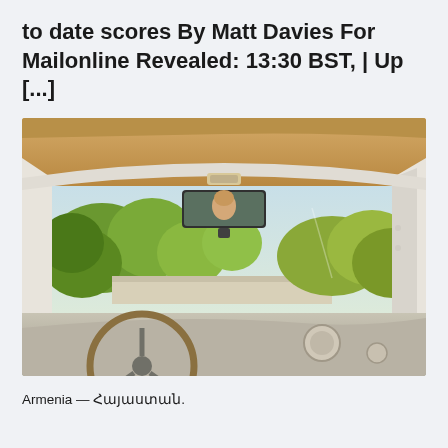to date scores By Matt Davies For Mailonline Revealed: 13:30 BST, | Up [...]
[Figure (photo): Interior view of a vintage/classic car from the driver's perspective — tan/cream interior headliner visible at top, rearview mirror in center with reflection of a person, windshield showing green trees and countryside outside, dashboard and steering wheel with wooden rim visible at bottom.]
Armenia — Հայաստան.